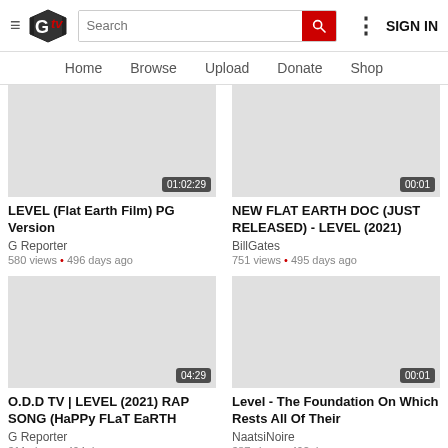GTV | Search | SIGN IN
Home | Browse | Upload | Donate | Shop
[Figure (screenshot): Video thumbnail placeholder for LEVEL (Flat Earth Film) PG Version with duration 01:02:29]
LEVEL (Flat Earth Film) PG Version
G Reporter
580 views • 496 days ago
[Figure (screenshot): Video thumbnail placeholder for NEW FLAT EARTH DOC (JUST RELEASED) - LEVEL (2021) with duration 00:01]
NEW FLAT EARTH DOC (JUST RELEASED) - LEVEL (2021)
BillGates
751 views • 495 days ago
[Figure (screenshot): Video thumbnail placeholder for O.D.D TV | LEVEL (2021) RAP SONG (HaPPy FLaT EaRTH with duration 04:29]
O.D.D TV | LEVEL (2021) RAP SONG (HaPPy FLaT EaRTH
G Reporter
311 views • 494 days ago
[Figure (screenshot): Video thumbnail placeholder for Level - The Foundation On Which Rests All Of Their with duration 00:01]
Level - The Foundation On Which Rests All Of Their
NaatsiNoire
387 views • 492 days ago